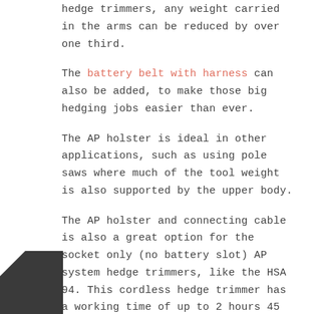hedge trimmers, any weight carried in the arms can be reduced by over one third.
The battery belt with harness can also be added, to make those big hedging jobs easier than ever.
The AP holster is ideal in other applications, such as using pole saws where much of the tool weight is also supported by the upper body.
The AP holster and connecting cable is also a great option for the socket only (no battery slot) AP system hedge trimmers, like the HSA 94. This cordless hedge trimmer has a working time of up to 2 hours 45 minutes with an AP 300 S battery, which is more than sufficient for many applications particularly when used with the AL 500 fast charger, giving you all-day use by cycling the batteries.